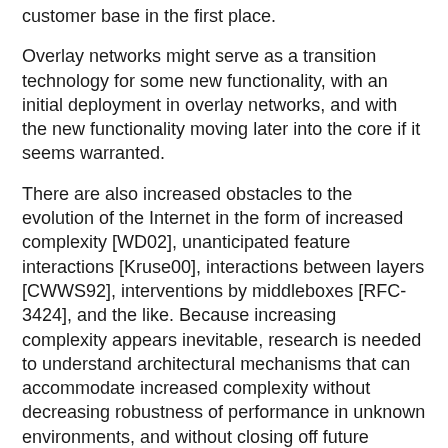customer base in the first place.
Overlay networks might serve as a transition technology for some new functionality, with an initial deployment in overlay networks, and with the new functionality moving later into the core if it seems warranted.
There are also increased obstacles to the evolution of the Internet in the form of increased complexity [WD02], unanticipated feature interactions [Kruse00], interactions between layers [CWWS92], interventions by middleboxes [RFC-3424], and the like. Because increasing complexity appears inevitable, research is needed to understand architectural mechanisms that can accommodate increased complexity without decreasing robustness of performance in unknown environments, and without closing off future possibilities for evolution. More concretely, research is needed on how to evolve the Internet will still maintaining its core strengths, such as the current degree of global addressability of hosts, end-to-end transparency of